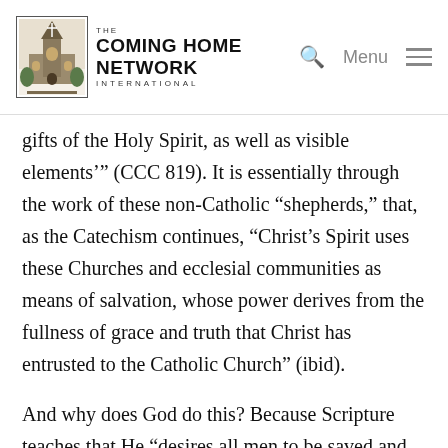The Coming Home Network International
gifts of the Holy Spirit, as well as visible elements’” (CCC 819). It is essentially through the work of these non-Catholic “shepherds,” that, as the Catechism continues, “Christ’s Spirit uses these Churches and ecclesial communities as means of salvation, whose power derives from the fullness of grace and truth that Christ has entrusted to the Catholic Church” (ibid).
And why does God do this? Because Scripture teaches that He “desires all men to be saved and to come to the knowledge of